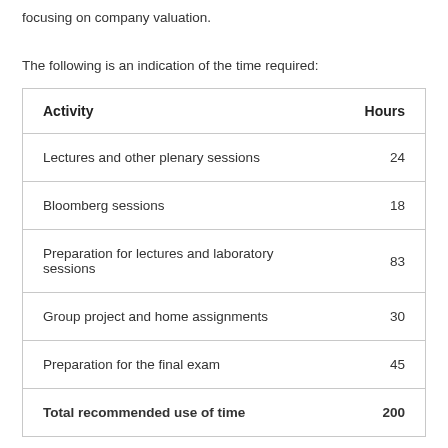focusing on company valuation.
The following is an indication of the time required:
| Activity | Hours |
| --- | --- |
| Lectures and other plenary sessions | 24 |
| Bloomberg sessions | 18 |
| Preparation for lectures and laboratory sessions | 83 |
| Group project and home assignments | 30 |
| Preparation for the final exam | 45 |
| Total recommended use of time | 200 |